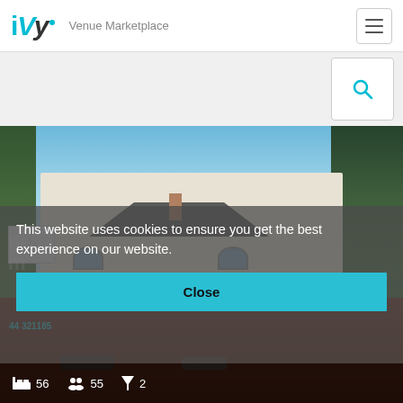iVvy Venue Marketplace
[Figure (screenshot): iVvy venue marketplace website screenshot showing a Victorian-style white building with a cookie consent overlay and stats bar showing 56, 55, 2]
This website uses cookies to ensure you get the best experience on our website.
Close
56  55  2